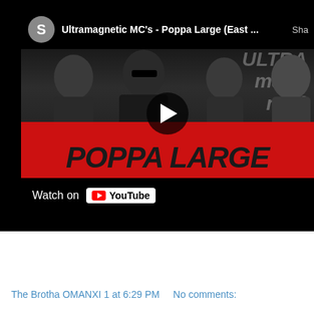[Figure (screenshot): YouTube video embed thumbnail showing Ultramagnetic MC's - Poppa Large (East...) with play button, four figures in black and white photo, red background with 'POPPA LARGE' text, and 'Watch on YouTube' bar at bottom]
The Brotha OMANXI 1 at 6:29 PM    No comments: